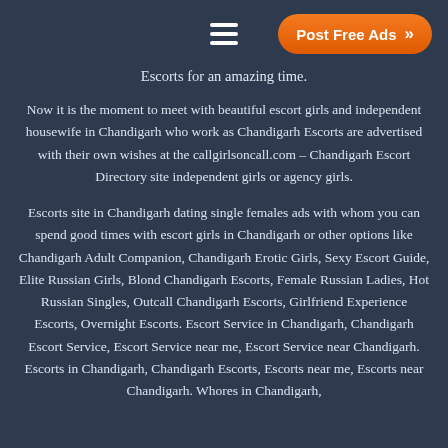Post Free Ads
Escorts for an amazing time.
Now it is the moment to meet with beautiful escort girls and independent housewife in Chandigarh who work as Chandigarh Escorts are advertised with their own wishes at the callgirlsoncall.com – Chandigarh Escort Directory site independent girls or agency girls.
Escorts site in Chandigarh dating single females ads with whom you can spend good times with escort girls in Chandigarh or other options like Chandigarh Adult Companion, Chandigarh Erotic Girls, Sexy Escort Guide, Elite Russian Girls, Blond Chandigarh Escorts, Female Russian Ladies, Hot Russian Singles, Outcall Chandigarh Escorts, Girlfriend Experience Escorts, Overnight Escorts. Escort Service in Chandigarh, Chandigarh Escort Service, Escort Service near me, Escort Service near Chandigarh. Escorts in Chandigarh, Chandigarh Escorts, Escorts near me, Escorts near Chandigarh. Whores in Chandigarh,